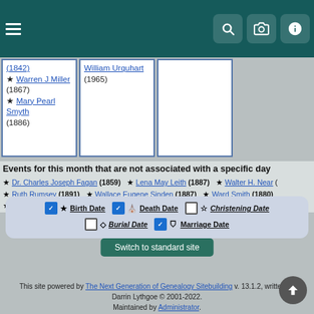Navigation bar with hamburger menu and icons for search, camera, info
(1842) ★ Warren J Miller (1867) ★ Mary Pearl Smyth (1886)
William Urquhart (1965)
(empty cell)
Events for this month that are not associated with a specific day
★ Dr. Charles Joseph Fagan (1859)  ★ Lena May Leith (1887)  ★ Walter H. Near (
★ Ruth Rumsey (1891)  ★ Wallace Eugene Sinden (1887)  ★ Ward Smith (1880)
★ Michael Norman Wolfraim (1980)  ⊕ Grant Armstrong Gooderham (1919)  ⊕ Ase
☑ ★ Birth Date   ☑ ⊕ Death Date   ☐ ☆ Christening Date   ☐ ◇ Burial Date   ☑ ⊕ Marriage Date
Switch to standard site
This site powered by The Next Generation of Genealogy Sitebuilding v. 13.1.2, written by Darrin Lythgoe © 2001-2022. Maintained by Administrator.